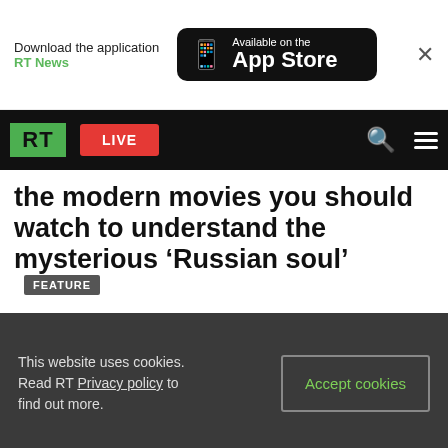[Figure (screenshot): App Store download banner with RT News branding and App Store button]
[Figure (screenshot): RT navigation bar with green RT logo, red LIVE button, search and menu icons on black background]
the modern movies you should watch to understand the mysterious ‘Russian soul’
FEATURE
This website uses cookies. Read RT Privacy policy to find out more.
Accept cookies